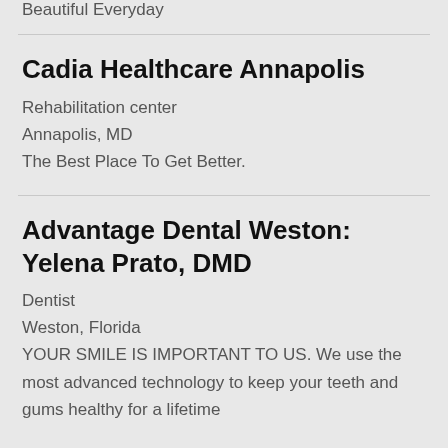Beautiful Everyday
Cadia Healthcare Annapolis
Rehabilitation center
Annapolis, MD
The Best Place To Get Better.
Advantage Dental Weston: Yelena Prato, DMD
Dentist
Weston, Florida
YOUR SMILE IS IMPORTANT TO US. We use the most advanced technology to keep your teeth and gums healthy for a lifetime